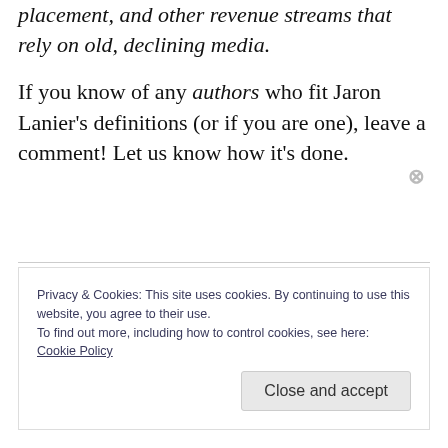placement, and other revenue streams that rely on old, declining media.
If you know of any authors who fit Jaron Lanier's definitions (or if you are one), leave a comment! Let us know how it's done.
Privacy & Cookies: This site uses cookies. By continuing to use this website, you agree to their use.
To find out more, including how to control cookies, see here: Cookie Policy
Close and accept